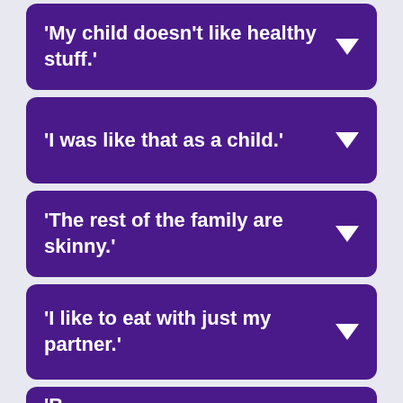'My child doesn't like healthy stuff.'
'I was like that as a child.'
'The rest of the family are skinny.'
'I like to eat with just my partner.'
'B... [truncated, partially visible]
Show accessibility tools